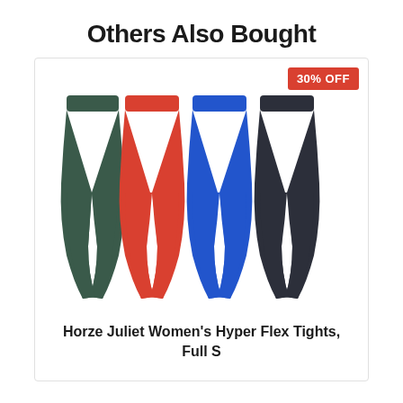Others Also Bought
[Figure (photo): Four women's leggings/tights displayed side by side in dark green, red/coral, blue, and dark navy colors with a 30% OFF badge in the top right corner of the product card]
Horze Juliet Women's Hyper Flex Tights, Full S